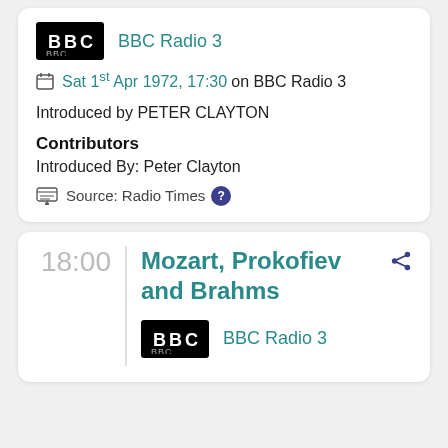[Figure (logo): BBC logo (white text on black background)]
BBC Radio 3
Sat 1st Apr 1972, 17:30 on BBC Radio 3
Introduced by PETER CLAYTON
Contributors
Introduced By:  Peter Clayton
Source: Radio Times
18:00
Mozart, Prokofiev and Brahms
[Figure (logo): BBC logo (white text on black background)]
BBC Radio 3